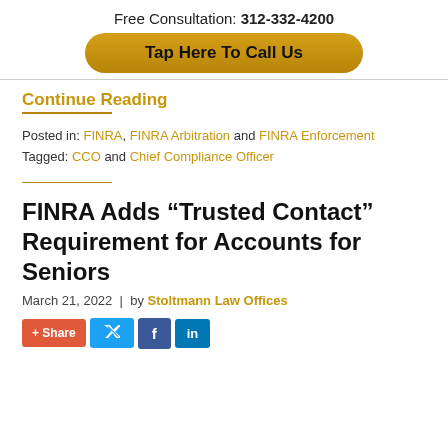Free Consultation: 312-332-4200
Tap Here To Call Us
Continue Reading
Posted in: FINRA, FINRA Arbitration and FINRA Enforcement
Tagged: CCO and Chief Compliance Officer
FINRA Adds “Trusted Contact” Requirement for Accounts for Seniors
March 21, 2022 | by Stoltmann Law Offices
+ Share  [Twitter]  [Facebook]  [LinkedIn]